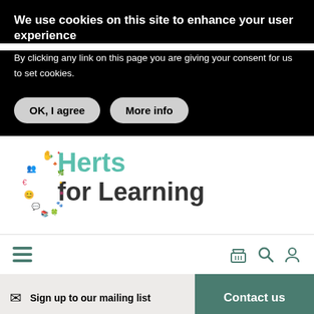We use cookies on this site to enhance your user experience
By clicking any link on this page you are giving your consent for us to set cookies.
OK, I agree
More info
[Figure (logo): Herts for Learning logo with colorful icons forming an arc]
[Figure (infographic): Navigation bar with hamburger menu icon on left and basket, search, and user icons on right]
Sign up to our mailing list
Contact us
Home > Blog
> Teaching for timelords: verb forms in UKS2 writing